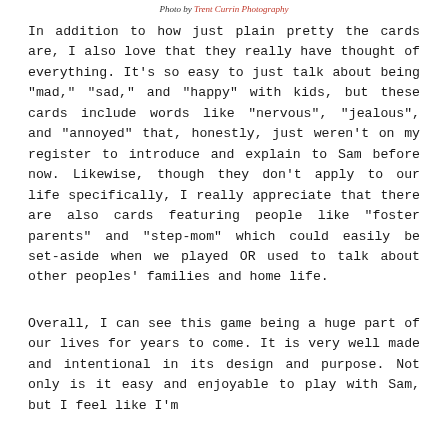Photo by Trent Currin Photography
In addition to how just plain pretty the cards are, I also love that they really have thought of everything. It's so easy to just talk about being "mad," "sad," and "happy" with kids, but these cards include words like "nervous", "jealous", and "annoyed" that, honestly, just weren't on my register to introduce and explain to Sam before now. Likewise, though they don't apply to our life specifically, I really appreciate that there are also cards featuring people like "foster parents" and "step-mom" which could easily be set-aside when we played OR used to talk about other peoples' families and home life.
Overall, I can see this game being a huge part of our lives for years to come. It is very well made and intentional in its design and purpose. Not only is it easy and enjoyable to play with Sam, but I feel like I'm